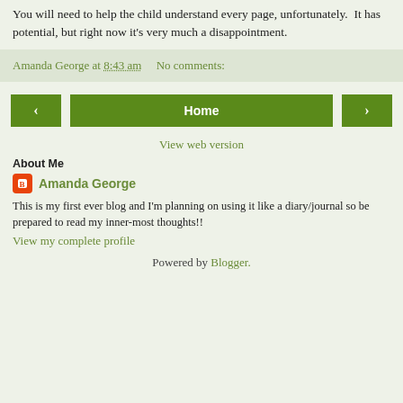You will need to help the child understand every page, unfortunately.  It has potential, but right now it's very much a disappointment.
Amanda George at 8:43 am   No comments:
‹   Home   ›
View web version
About Me
Amanda George
This is my first ever blog and I'm planning on using it like a diary/journal so be prepared to read my inner-most thoughts!!
View my complete profile
Powered by Blogger.